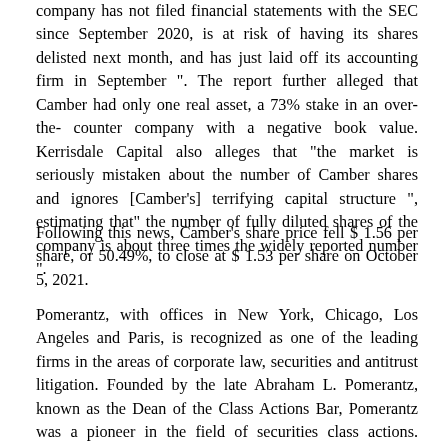company has not filed financial statements with the SEC since September 2020, is at risk of having its shares delisted next month, and has just laid off its accounting firm in September ". The report further alleged that Camber had only one real asset, a 73% stake in an over-the-counter company with a negative book value. Kerrisdale Capital also alleges that "the market is seriously mistaken about the number of Camber shares and ignores [Camber's] terrifying capital structure ", estimating that" the number of fully diluted shares of the company is about three times the widely reported number ".
Following this news, Camber's share price fell $ 1.56 per share, or 50.49%, to close at $ 1.53 per share on October 5, 2021.
Pomerantz, with offices in New York, Chicago, Los Angeles and Paris, is recognized as one of the leading firms in the areas of corporate law, securities and antitrust litigation. Founded by the late Abraham L. Pomerantz, known as the Dean of the Class Actions Bar, Pomerantz was a pioneer in the field of securities class actions. Today, more than 80 years later, Pomerantz continues the tradition it established, fighting for the rights of victims of securities fraud, breach of fiduciary duty and professional misconduct. The firm has recovered numerous multi-million